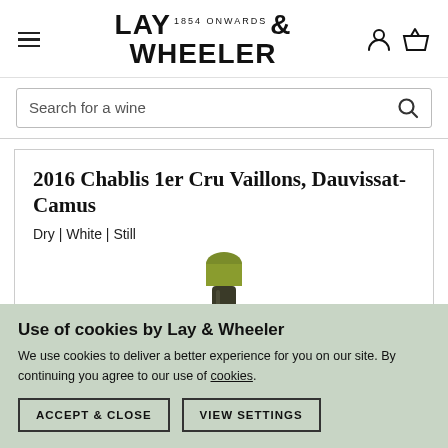Lay & Wheeler — 1854 Onwards
Search for a wine
2016 Chablis 1er Cru Vaillons, Dauvissat-Camus
Dry | White | Still
[Figure (photo): Top portion of a wine bottle with a green wax capsule and dark glass neck]
Use of cookies by Lay & Wheeler
We use cookies to deliver a better experience for you on our site. By continuing you agree to our use of cookies.
ACCEPT & CLOSE   VIEW SETTINGS